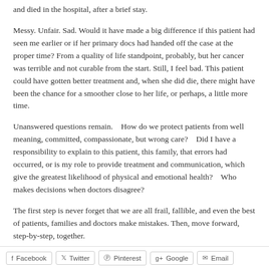and died in the hospital, after a brief stay.
Messy. Unfair. Sad. Would it have made a big difference if this patient had seen me earlier or if her primary docs had handed off the case at the proper time? From a quality of life standpoint, probably, but her cancer was terrible and not curable from the start. Still, I feel bad. This patient could have gotten better treatment and, when she did die, there might have been the chance for a smoother close to her life, or perhaps, a little more time.
Unanswered questions remain.   How do we protect patients from well meaning, committed, compassionate, but wrong care?   Did I have a responsibility to explain to this patient, this family, that errors had occurred, or is my role to provide treatment and communication, which give the greatest likelihood of physical and emotional health?   Who makes decisions when doctors disagree?
The first step is never forget that we are all frail, fallible, and even the best of patients, families and doctors make mistakes. Then, move forward, step-by-step, together.
Facebook  Twitter  Pinterest  G+ Google  Email